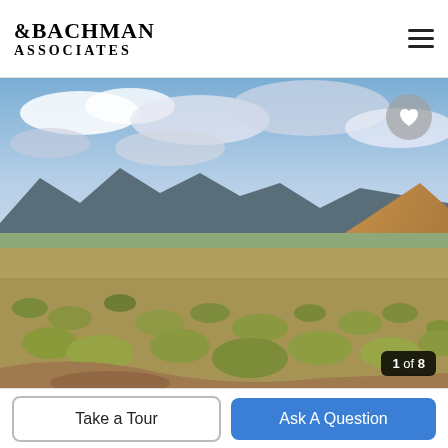[Figure (logo): Bachman & Associates real estate company logo with stylized serif text]
[Figure (photo): Landscape photo of open sagebrush field with mountains in background and cloudy blue sky. Image counter shows 1 of 8 in bottom right corner.]
Take a Tour
Ask A Question